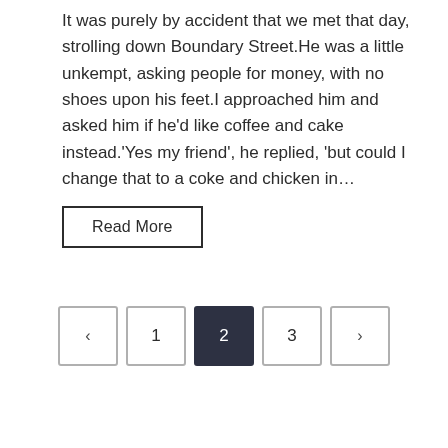It was purely by accident that we met that day, strolling down Boundary Street.He was a little unkempt, asking people for money, with no shoes upon his feet.I approached him and asked him if he'd like coffee and cake instead.'Yes my friend', he replied, 'but could I change that to a coke and chicken in…
Read More